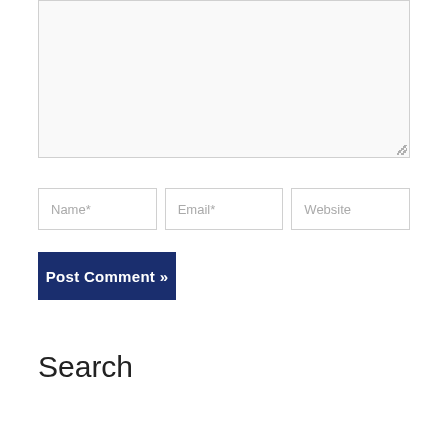[Figure (screenshot): Large text area input box with resize handle at bottom right, light gray background]
Name*
Email*
Website
Post Comment »
Search